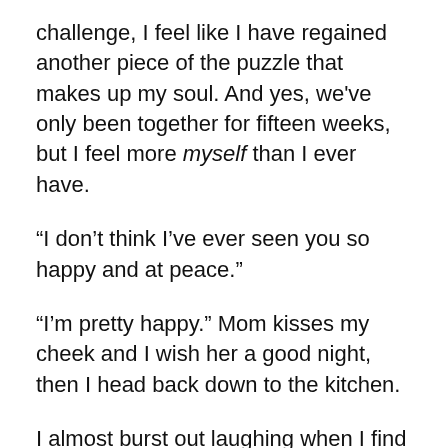challenge, I feel like I have regained another piece of the puzzle that makes up my soul. And yes, we've only been together for fifteen weeks, but I feel more myself than I ever have.
“I don’t think I’ve ever seen you so happy and at peace.”
“I’m pretty happy.” Mom kisses my cheek and I wish her a good night, then I head back down to the kitchen.
I almost burst out laughing when I find William wearing my pink dish gloves—how he stuffed his large hands inside the gloves that are snug on